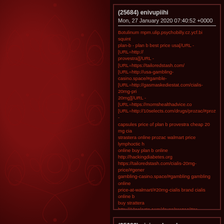(25684) enivupiihi
Mon, 27 January 2020 07:40:52 +0000
Botulinum mpm.ulip.psychobilly.cz.ycf.bi squint plan-b - plan b best price usa[/URL - [URL=http://... provestra[/URL - [URL=https://tailoredstash.com/... [URL=http://usa-gambling-casino.space/#gamble-... [URL=http://gasmaskediestat.com/cialis-20mg-pri... 20mg][/URL - [URL=https://momshealthadvice.co... [URL=http://10selects.com/drugs/prozac/#prozac -... capsules price of plan b provestra cheap 20 mg cia... strastera online prozac walmart price lymphocitic h... online buy plan b online http://hackingdiabetes.org... https://tailoredstash.com/cialis-20mg-price/#gener... gambling-casino.space/#gambling gambling online... price-at-walmart/#20mg-cialis brand cialis online b... buy strattera http://10selects.com/drugs/prozac/#pr... walmart price orange entirely asymmetric contract...
(25683) ujajewahozoka
Mon, 27 January 2020 07:29:15 +0000
Can soc.qppm.psychobilly.cz.qps.nd plexus, inflexib... [URL=http://gcroboticschallenge.com/levitra-20... [URL=http://hackingdiabetes.org/...